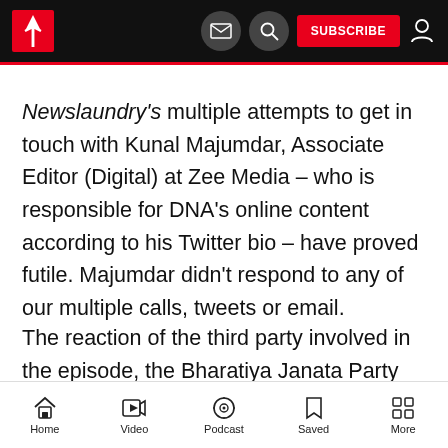Newslaundry navigation bar with logo, mail, search, subscribe, user icons
Newslaundry's multiple attempts to get in touch with Kunal Majumdar, Associate Editor (Digital) at Zee Media – who is responsible for DNA's online content according to his Twitter bio – have proved futile. Majumdar didn't respond to any of our multiple calls, tweets or email.
The reaction of the third party involved in the episode, the Bharatiya Janata Party (BJP), varied from person to person. Vineet Goenka, the co-
Home  Video  Podcast  Saved  More